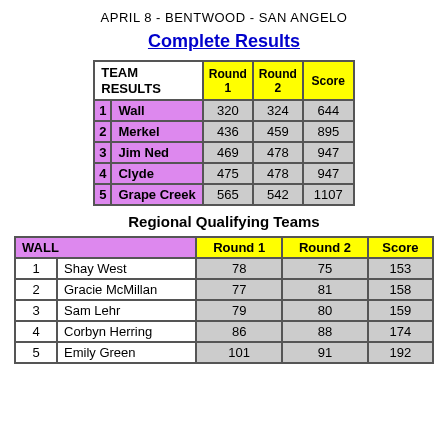APRIL 8 - BENTWOOD - SAN ANGELO
Complete Results
| TEAM RESULTS | Round 1 | Round 2 | Score |
| --- | --- | --- | --- |
| 1 Wall | 320 | 324 | 644 |
| 2 Merkel | 436 | 459 | 895 |
| 3 Jim Ned | 469 | 478 | 947 |
| 4 Clyde | 475 | 478 | 947 |
| 5 Grape Creek | 565 | 542 | 1107 |
Regional Qualifying Teams
| WALL | Round 1 | Round 2 | Score |
| --- | --- | --- | --- |
| 1  Shay West | 78 | 75 | 153 |
| 2  Gracie McMillan | 77 | 81 | 158 |
| 3  Sam Lehr | 79 | 80 | 159 |
| 4  Corbyn Herring | 86 | 88 | 174 |
| 5  Emily Green | 101 | 91 | 192 |